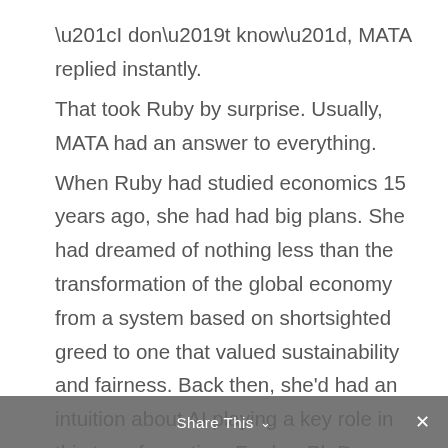“I don’t know”, MATA replied instantly.
That took Ruby by surprise. Usually, MATA had an answer to everything.
When Ruby had studied economics 15 years ago, she had had big plans. She had dreamed of nothing less than the transformation of the global economy from a system based on shortsighted greed to one that valued sustainability and fairness. Back then, she’d had an intuition about AI playing a key role in this transformation. For her Ph.D. thesis, she had used an advanced AI with a simulated, simplified model of the global economy to optimize certain parameters. But she’d never have dreamed how profound the actual transformation would turn out to be and
Share This